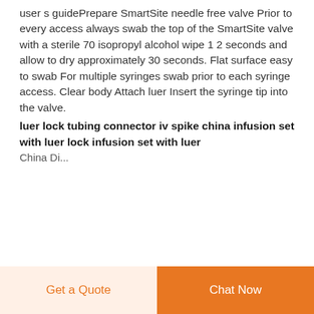user s guidePrepare SmartSite needle free valve Prior to every access always swab the top of the SmartSite valve with a sterile 70 isopropyl alcohol wipe 1 2 seconds and allow to dry approximately 30 seconds. Flat surface easy to swab For multiple syringes swab prior to each syringe access. Clear body Attach luer Insert the syringe tip into the valve.
luer lock tubing connector iv spike china infusion set with luer lock infusion set with luer